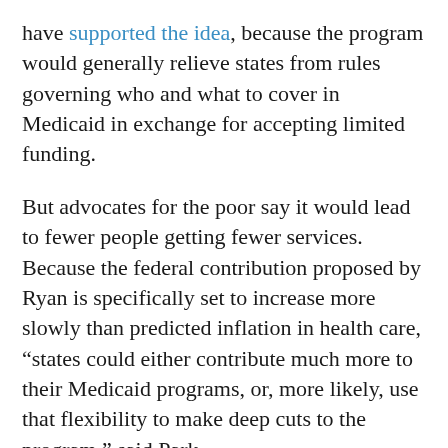have supported the idea, because the program would generally relieve states from rules governing who and what to cover in Medicaid in exchange for accepting limited funding.
But advocates for the poor say it would lead to fewer people getting fewer services. Because the federal contribution proposed by Ryan is specifically set to increase more slowly than predicted inflation in health care, “states could either contribute much more to their Medicaid programs, or, more likely, use that flexibility to make deep cuts to the program,” said Park.
A 2012 estimate from the Urban Institute said that year’s proposal could result in 17 million people losing coverage, and payments to health